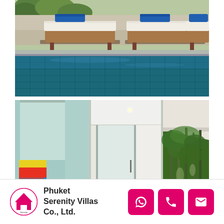[Figure (photo): Outdoor swimming pool with two dark wicker/rattan sun loungers with white cushions and blue rolled towels on top, pool edge with teal/blue mosaic tiles, tropical greenery in background]
[Figure (photo): Composite of three villa interior/exterior photos: left showing interior room with colorful artwork and roller blind, center showing glass sliding door with air conditioning unit and white ceiling, right showing exterior bamboo/palm trees and tropical garden]
Phuket Serenity Villas Co., Ltd.